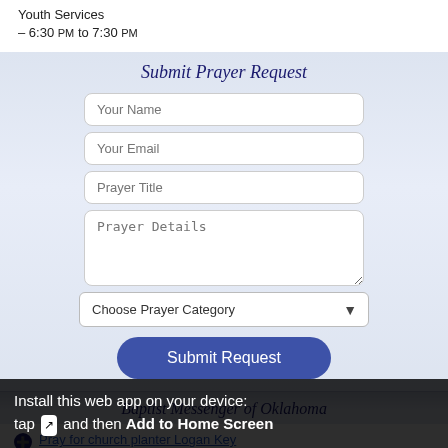Youth Services
– 6:30 PM to 7:30 PM
Submit Prayer Request
[Figure (screenshot): Web form with fields: Your Name, Your Email, Prayer Title, Prayer Details (textarea), Choose Prayer Category dropdown, and Submit Request button]
Baptist Messenger of Oklahoma
Pray for church planter Logan Key
Missionaries meet 23, 33 Oklahoma State Missions & You... nd flexibility on mission field.
Install this web app on your device: tap and then Add to Home Screen